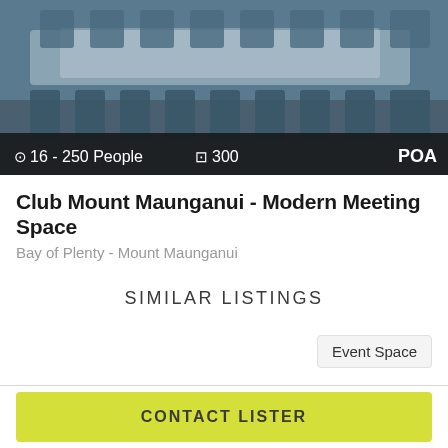[Figure (photo): Interior photo of a modern meeting/conference space with chairs and tables, blue tones. Overlay text shows capacity: 16-250 People, area: 300, price: POA]
Club Mount Maunganui - Modern Meeting Space
Bay of Plenty - Mount Maunganui
SIMILAR LISTINGS
Event Space
CONTACT LISTER